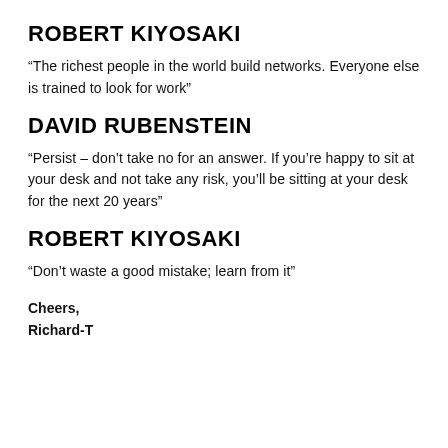ROBERT KIYOSAKI
“The richest people in the world build networks. Everyone else is trained to look for work”
DAVID RUBENSTEIN
“Persist – don’t take no for an answer. If you’re happy to sit at your desk and not take any risk, you’ll be sitting at your desk for the next 20 years”
ROBERT KIYOSAKI
“Don’t waste a good mistake; learn from it”
Cheers,
Richard-T